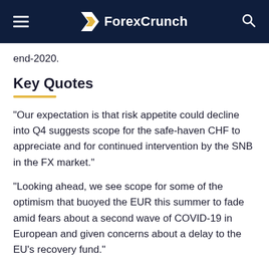ForexCrunch
end-2020.
Key Quotes
“Our expectation is that risk appetite could decline into Q4 suggests scope for the safe-haven CHF to appreciate and for continued intervention by the SNB in the FX market.”
“Looking ahead, we see scope for some of the optimism that buoyed the EUR this summer to fade amid fears about a second wave of COVID-19 in European and given concerns about a delay to the EU’s recovery fund.”
“Irrespective of the threat of further SNB FX intervention, we see the potential for a drop in risk appetite suggests scope for EUR/CHF to edge lower to 1.07 by the end of the year.”